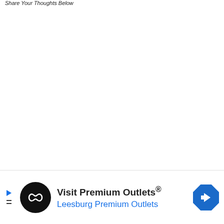Share Your Thoughts Below
[Figure (other): Advertisement banner: Visit Premium Outlets® / Leesburg Premium Outlets, with circular black logo containing infinity-like symbol, blue navigation/directions diamond icon on right, and play/close icons on left.]